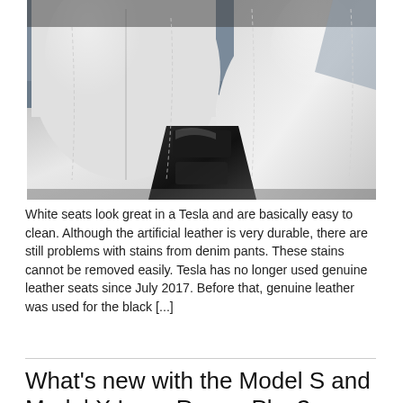[Figure (photo): Interior of a Tesla vehicle showing white artificial leather seats with a dark center console between the front seats, viewed from a slightly elevated angle.]
White seats look great in a Tesla and are basically easy to clean. Although the artificial leather is very durable, there are still problems with stains from denim pants. These stains cannot be removed easily. Tesla has no longer used genuine leather seats since July 2017. Before that, genuine leather was used for the black [...]
What's new with the Model S and Model X Long Range Plus?